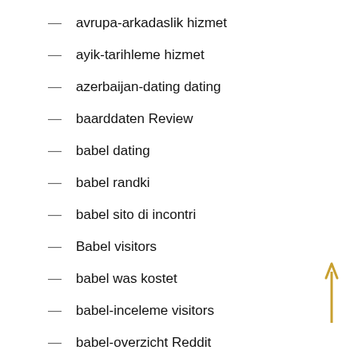avrupa-arkadaslik hizmet
ayik-tarihleme hizmet
azerbaijan-dating dating
baarddaten Review
babel dating
babel randki
babel sito di incontri
Babel visitors
babel was kostet
babel-inceleme visitors
babel-overzicht Reddit
babel-recenze recenzÍ